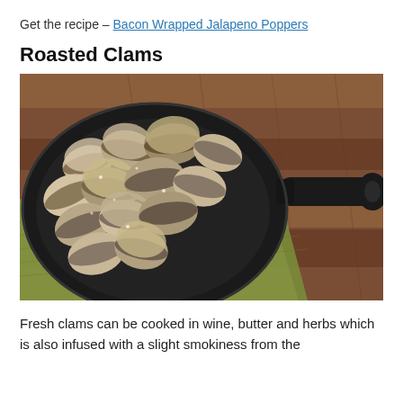Get the recipe – Bacon Wrapped Jalapeno Poppers
Roasted Clams
[Figure (photo): A cast iron skillet filled with roasted clams, sitting on a green cloth napkin on a wooden surface. The clams are open and slightly charred.]
Fresh clams can be cooked in wine, butter and herbs which is also infused with a slight smokiness from the